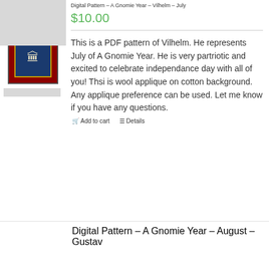[Figure (photo): Thumbnail image of Vilhelm gnome pattern product listing showing a store logo (pink circle), store name, and a quilt square with patriotic gnome design on dark red border with gold inner border and blue center]
Digital Pattern – A Gnomie Year – Vilhelm – July
$10.00
This is a PDF pattern of Vilhelm. He represents July of A Gnomie Year. He is very partriotic and excited to celebrate independance day with all of you! Thsi is wool applique on cotton background. Any applique preference can be used. Let me know if you have any questions.
Add to cart     Details
[Figure (photo): Thumbnail image of August Gustav gnome pattern product listing showing a gray placeholder image]
Digital Pattern – A Gnomie Year – August – Gustav